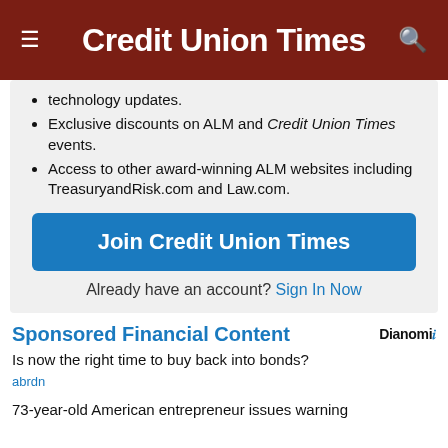Credit Union Times
technology updates.
Exclusive discounts on ALM and Credit Union Times events.
Access to other award-winning ALM websites including TreasuryandRisk.com and Law.com.
Join Credit Union Times
Already have an account? Sign In Now
Sponsored Financial Content
Is now the right time to buy back into bonds?
abrdn
73-year-old American entrepreneur issues warning